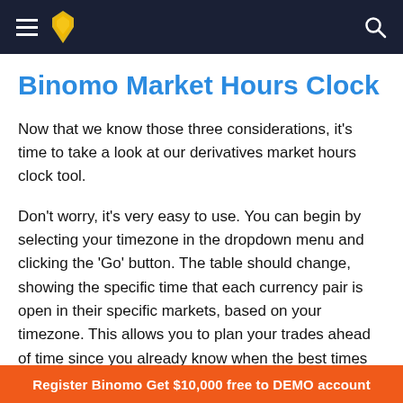Binomo (navigation bar with hamburger menu, logo, and search icon)
Binomo Market Hours Clock
Now that we know those three considerations, it's time to take a look at our derivatives market hours clock tool.
Don't worry, it's very easy to use. You can begin by selecting your timezone in the dropdown menu and clicking the 'Go' button. The table should change, showing the specific time that each currency pair is open in their specific markets, based on your timezone. This allows you to plan your trades ahead of time since you already know when the best times are for
Register Binomo Get $10,000 free to DEMO account